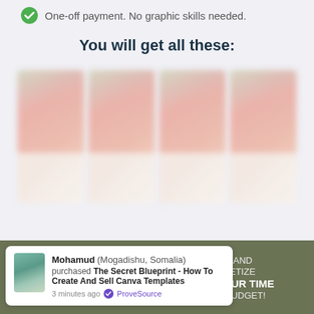One-off payment. No graphic skills needed.
You will get all these:
[Figure (illustration): Four blurred product/template package images displayed side by side]
[Figure (screenshot): ProveSource notification popup: Mohamud (Mogadishu, Somalia) purchased The Secret Blueprint - How To Create And Sell Canva Templates · 3 minutes ago · ProveSource]
ER, AND ONETIZE YOUR TIME R BUDGET!